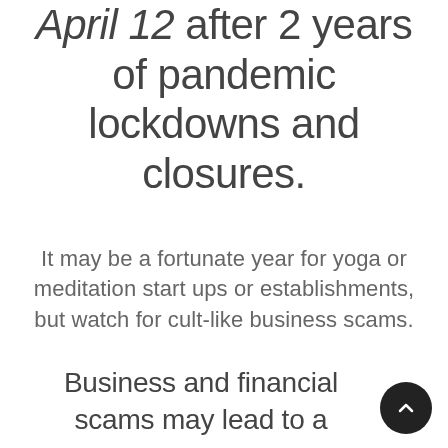April 12 after 2 years of pandemic lockdowns and closures.
It may be a fortunate year for yoga or meditation start ups or establishments, but watch for cult-like business scams.
Business and financial scams may lead to a